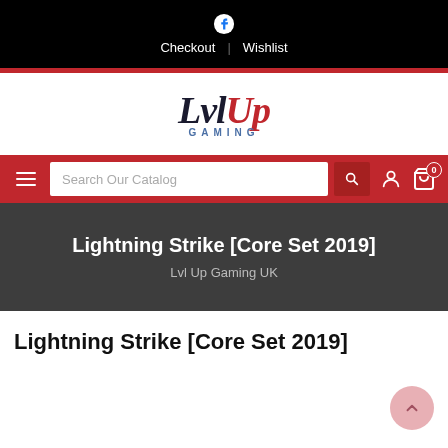Facebook | Checkout | Wishlist
[Figure (logo): LvlUp Gaming logo — LVL in dark serif italic, UP in red serif italic, GAMING in blue spaced caps below]
Search Our Catalog
Lightning Strike [Core Set 2019]
Lvl Up Gaming UK
Lightning Strike [Core Set 2019]